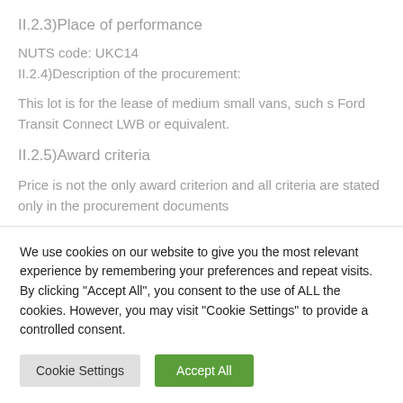II.2.3)Place of performance
NUTS code: UKC14
II.2.4)Description of the procurement:
This lot is for the lease of medium small vans, such s Ford Transit Connect LWB or equivalent.
II.2.5)Award criteria
Price is not the only award criterion and all criteria are stated only in the procurement documents
We use cookies on our website to give you the most relevant experience by remembering your preferences and repeat visits. By clicking "Accept All", you consent to the use of ALL the cookies. However, you may visit "Cookie Settings" to provide a controlled consent.